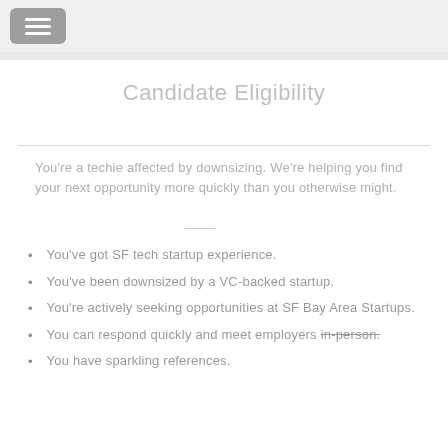☰
Candidate Eligibility
You're a techie affected by downsizing. We're helping you find your next opportunity more quickly than you otherwise might.
You've got SF tech startup experience.
You've been downsized by a VC-backed startup.
You're actively seeking opportunities at SF Bay Area Startups.
You can respond quickly and meet employers in-person.
You have sparkling references.